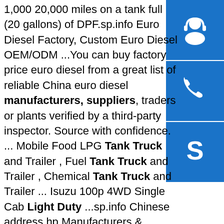1,000 20,000 miles on a tank full (20 gallons) of DPF.sp.info Euro Diesel Factory, Custom Euro Diesel OEM/ODM ...You can buy factory price euro diesel from a great list of reliable China euro diesel manufacturers, suppliers, traders or plants verified by a third-party inspector. Source with confidence. ... Mobile Food LPG Tank Truck and Trailer , Fuel Tank Truck and Trailer , Chemical Tank Truck and Trailer ... Isuzu 100p 4WD Single Cab Light Duty ...sp.info Chinese address hp Manufacturers & Suppliers, China ...chinese address hp manufacturer/supplier, China chinese address hp manufacturer & factory list, find qualified Chinese address hp manufacturers, suppliers, factories, exporters & wholesalers quickly on Made-in-China.com. ... Sinotruk HOWO 371 HP 25ton 10 Wheeler Dump Truck. ... 5/6/7/8/9 Tons 120 HP Dongfeng Lorry /Light Duty Cargo/Mini ...sp.info Truck Accessories & Parts in Fort Garry Winnipeg MB ...Commercial Aluminum Welding And Repairs, Industrial And Automotive Radiator Repair, Fuel Tank Repair, Complete Radiator, Oil Cooler, Charge...
[Figure (illustration): Blue square icon with white headset/customer support symbol]
[Figure (illustration): Blue square icon with white telephone/call symbol]
[Figure (illustration): Blue square icon with white Skype logo symbol]